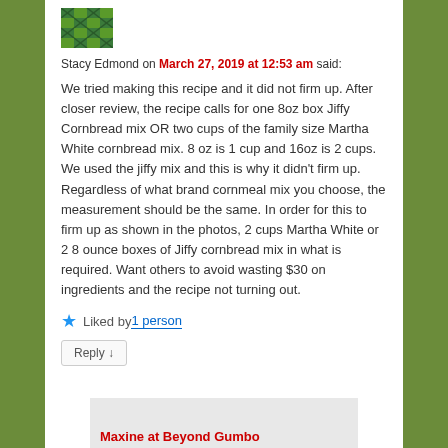[Figure (illustration): Quilt-pattern avatar icon with green and dark green checkered diagonal pattern]
Stacy Edmond on March 27, 2019 at 12:53 am said:
We tried making this recipe and it did not firm up. After closer review, the recipe calls for one 8oz box Jiffy Cornbread mix OR two cups of the family size Martha White cornbread mix. 8 oz is 1 cup and 16oz is 2 cups. We used the jiffy mix and this is why it didn't firm up. Regardless of what brand cornmeal mix you choose, the measurement should be the same. In order for this to firm up as shown in the photos, 2 cups Martha White or 2 8 ounce boxes of Jiffy cornbread mix in what is required. Want others to avoid wasting $30 on ingredients and the recipe not turning out.
Liked by 1 person
Reply ↓
Maxine at Beyond Gumbo